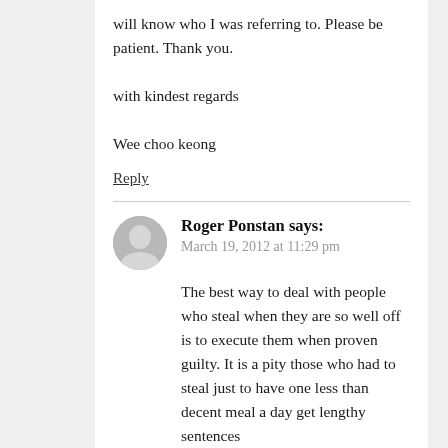will know who I was referring to. Please be patient. Thank you.

with kindest regards

Wee choo keong
Reply
Roger Ponstan says:
March 19, 2012 at 11:29 pm
The best way to deal with people who steal when they are so well off is to execute them when proven guilty. It is a pity those who had to steal just to have one less than decent meal a day get lengthy sentences
Reply